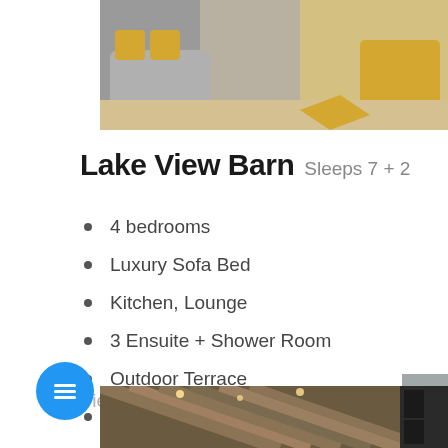[Figure (photo): Top photo showing a living room with grey sofa, yellow cushions, yellow armchair, and light wood flooring]
Lake View Barn Sleeps 7 + 2
4 bedrooms
Luxury Sofa Bed
Kitchen, Lounge
3 Ensuite + Shower Room
Outdoor Terrace
Hot tub available
View This Holiday Home
[Figure (photo): Bottom photo showing interior with wooden beamed ceiling and dark cabinet]